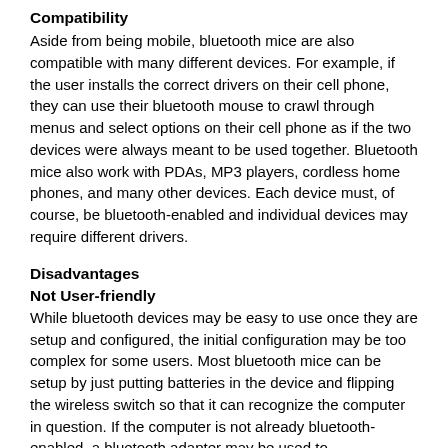Compatibility
Aside from being mobile, bluetooth mice are also compatible with many different devices. For example, if the user installs the correct drivers on their cell phone, they can use their bluetooth mouse to crawl through menus and select options on their cell phone as if the two devices were always meant to be used together. Bluetooth mice also work with PDAs, MP3 players, cordless home phones, and many other devices. Each device must, of course, be bluetooth-enabled and individual devices may require different drivers.
Disadvantages
Not User-friendly
While bluetooth devices may be easy to use once they are setup and configured, the initial configuration may be too complex for some users. Most bluetooth mice can be setup by just putting batteries in the device and flipping the wireless switch so that it can recognize the computer in question. If the computer is not already bluetooth-enabled, a bluetooth adapter may be used to communicate with the mouse. The bluetooth mouse should be able to detect the adapter or bluetooth-enabled device automatically, but it will need to be...